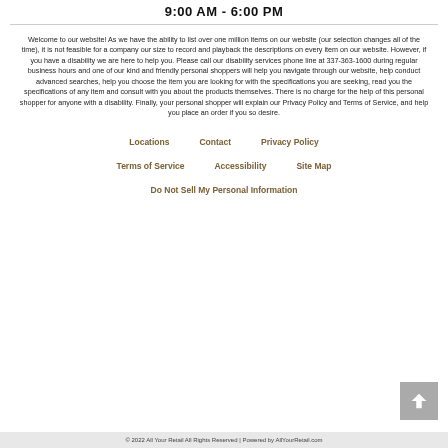9:00 AM - 6:00 PM
Welcome to our website! As we have the ability to list over one million items on our website (our selection changes all of the time), it is not feasible for a company our size to record and playback the descriptions on every item on our website. However, if you have a disability we are here to help you. Please call our disability services phone line at 337-363-1600 during regular business hours and one of our kind and friendly personal shoppers will help you navigate through our website, help conduct advanced searches, help you choose the item you are looking for with the specifications you are seeking, read you the specifications of any item and consult with you about the products themselves. There is no charge for the help of this personal shopper for anyone with a disability. Finally, your personal shopper will explain our Privacy Policy and Terms of Service, and help you place an order if you so desire.
Locations
Contact
Privacy Policy
Terms of Service
Accessibility
Site Map
Do Not Sell My Personal Information
© 2022 All Your Retail All Rights Reserved | Powered by AllYourRetail.com